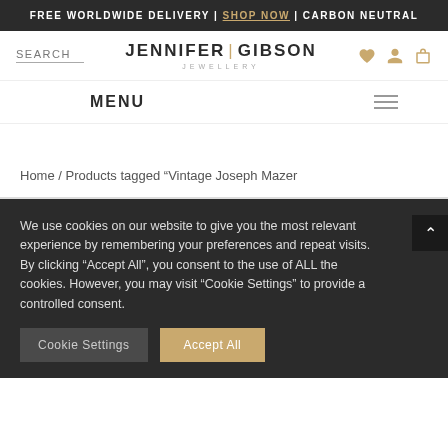FREE WORLDWIDE DELIVERY | SHOP NOW | CARBON NEUTRAL
[Figure (logo): Jennifer Gibson Jewellery logo with search bar and icons]
MENU
Home / Products tagged "Vintage Joseph Mazer
We use cookies on our website to give you the most relevant experience by remembering your preferences and repeat visits. By clicking "Accept All", you consent to the use of ALL the cookies. However, you may visit "Cookie Settings" to provide a controlled consent.
Cookie Settings
Accept All